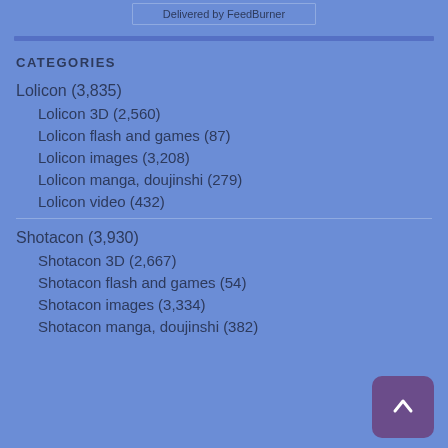Delivered by FeedBurner
CATEGORIES
Lolicon (3,835)
Lolicon 3D (2,560)
Lolicon flash and games (87)
Lolicon images (3,208)
Lolicon manga, doujinshi (279)
Lolicon video (432)
Shotacon (3,930)
Shotacon 3D (2,667)
Shotacon flash and games (54)
Shotacon images (3,334)
Shotacon manga, doujinshi (382)